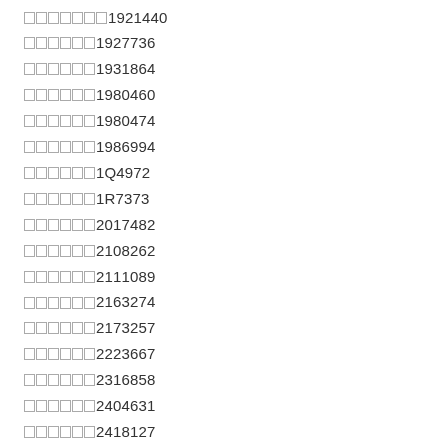□□□□□□□1921440
□□□□□□1927736
□□□□□□1931864
□□□□□□1980460
□□□□□□1980474
□□□□□□1986994
□□□□□□1Q4972
□□□□□□1R7373
□□□□□□2017482
□□□□□□2108262
□□□□□□2111089
□□□□□□2163274
□□□□□□2173257
□□□□□□2223667
□□□□□□2316858
□□□□□□2404631
□□□□□□2418127
□□Caterpillar 2442667
□□Caterpillar 2455703